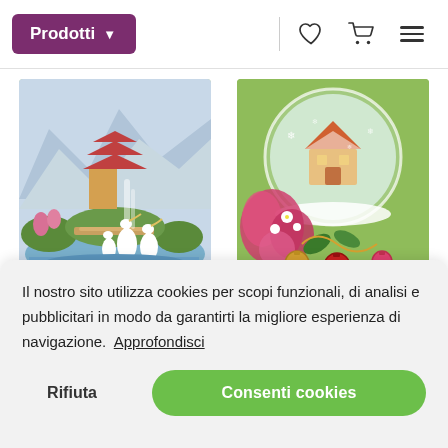Prodotti
[Figure (photo): Cross-stitch or painting product image: oriental scene with white herons, pagoda, bridge, waterfall, and lush greenery]
Happy Morning
[Figure (photo): Cross-stitch or painting product image: Christmas snow globe with a cottage, red poinsettia flowers, and ornaments on a green background]
Snow Globe
Il nostro sito utilizza cookies per scopi funzionali, di analisi e pubblicitari in modo da garantirti la migliore esperienza di navigazione. Approfondisci
Rifiuta
Consenti cookies